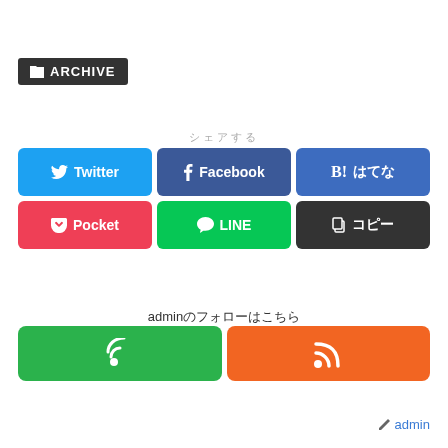🗂 ARCHIVE
シェアする
[Figure (infographic): Social share buttons: Twitter (blue), Facebook (dark blue), B! はてな (blue), Pocket (red), LINE (green), コピー (dark)]
adminのフォローはこちら
[Figure (infographic): Follow buttons: Feedly (green), RSS (orange)]
✏ admin